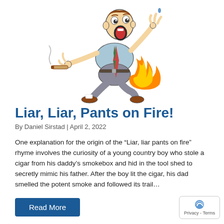[Figure (illustration): Cartoon illustration of a panicked man running with his pants on fire, holding a lit cigar, with flames coming from his backside. He has an exaggerated open mouth expression and outstretched arms.]
Liar, Liar, Pants on Fire!
By Daniel Sirstad | April 2, 2022
One explanation for the origin of the “Liar, liar pants on fire” rhyme involves the curiosity of a young country boy who stole a cigar from his daddy’s smokebox and hid in the tool shed to secretly mimic his father. After the boy lit the cigar, his dad smelled the potent smoke and followed its trail…